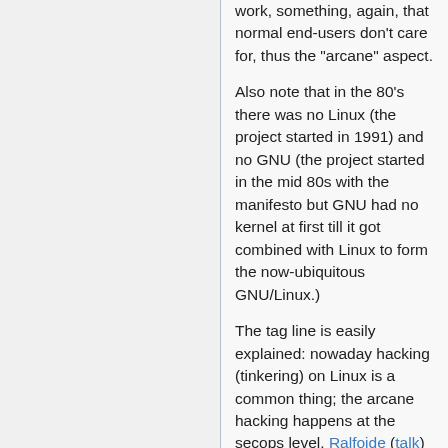work, something, again, that normal end-users don't care for, thus the "arcane" aspect.
Also note that in the 80's there was no Linux (the project started in 1991) and no GNU (the project started in the mid 80s with the manifesto but GNU had no kernel at first till it got combined with Linux to form the now-ubiquitous GNU/Linux.)
The tag line is easily explained: nowaday hacking (tinkering) on Linux is a common thing; the arcane hacking happens at the secops level. Ralfoide (talk) 17:02, 23 April 2016 (UTC)